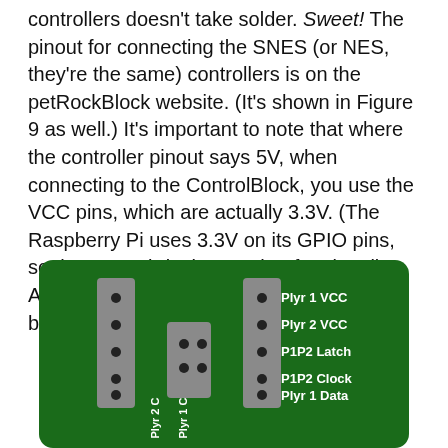controllers doesn't take solder. Sweet! The pinout for connecting the SNES (or NES, they're the same) controllers is on the petRockBlock website. (It's shown in Figure 9 as well.) It's important to note that where the controller pinout says 5V, when connecting to the ControlBlock, you use the VCC pins, which are actually 3.3V. (The Raspberry Pi uses 3.3V on its GPIO pins, so the ControlBlock uses that for signaling. Apparently it's enough for the controllers, because it seems to work!)
[Figure (schematic): A green PCB board showing the ControlBlock pinout connector area with labeled pins: Plyr 1 VCC, Plyr 2 VCC, P1P2 Latch, P1P2 Clock, Plyr 1 Data, and connectors labeled Plyr 2 C and Plyr 1 C.]